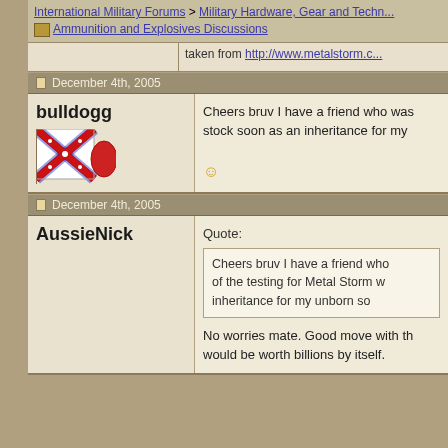International Military Forums > Military Hardware, Gear and Techn... > Ammunition and Explosives Discussions
taken from http://www.metalstorm.c...
December 4th, 2005
bulldogg
Cheers bruv I have a friend who was... stock soon as an inheritance for my... 🙂
December 4th, 2005
AussieNick
Quote:
Cheers bruv I have a friend who... of the testing for Metal Storm w... inheritance for my unborn so
No worries mate. Good move with th... would be worth billions by itself.